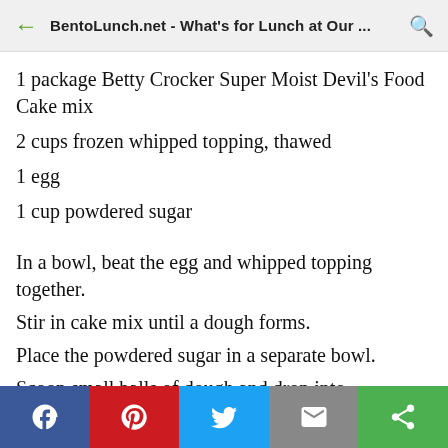BentoLunch.net - What's for Lunch at Our ...
1 package Betty Crocker Super Moist Devil's Food Cake mix
2 cups frozen whipped topping, thawed
1 egg
1 cup powdered sugar
In a bowl, beat the egg and whipped topping together.
Stir in cake mix until a dough forms.
Place the powdered sugar in a separate bowl.
Scoop small balls of dough and drop into